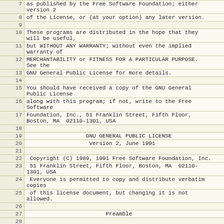| line | content |
| --- | --- |
| 7 | as published by the Free Software Foundation; either
version 2 |
| 8 | of the License, or (at your option) any later version. |
| 9 |  |
| 10 | These programs are distributed in the hope that they
will be useful, |
| 11 | but WITHOUT ANY WARRANTY; without even the implied
warranty of |
| 12 | MERCHANTABILITY or FITNESS FOR A PARTICULAR PURPOSE.
See the |
| 13 | GNU General Public License for more details. |
| 14 |  |
| 15 | You should have received a copy of the GNU General
Public License |
| 16 | along with this program; if not, write to the Free
Software |
| 17 | Foundation, Inc., 51 Franklin Street, Fifth Floor,
Boston, MA  02110-1301, USA |
| 18 |  |
| 19 |                   GNU GENERAL PUBLIC LICENSE |
| 20 |                    Version 2, June 1991 |
| 21 |  |
| 22 |  Copyright (C) 1989, 1991 Free Software Foundation, Inc. |
| 23 |  51 Franklin Street, Fifth Floor, Boston, MA  02110-
1301, USA |
| 24 |  Everyone is permitted to copy and distribute verbatim
copies |
| 25 |  of this license document, but changing it is not
allowed. |
| 26 |  |
| 27 |                         Preamble |
| 28 |  |
| 29 |   The licenses for most software are designed to take
away your |